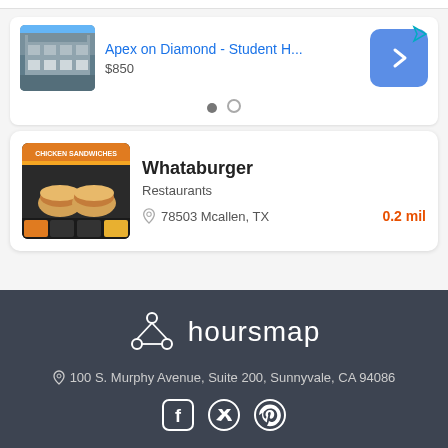[Figure (screenshot): Advertisement card for 'Apex on Diamond - Student H...' with building image, price $850, navigation arrows and dots]
Apex on Diamond - Student H...
$850
[Figure (screenshot): Listing card for Whataburger restaurant showing chicken sandwiches image, category Restaurants, address 78503 Mcallen, TX, distance 0.2 mil]
Whataburger
Restaurants
78503 Mcallen, TX
0.2 mil
hoursmap
100 S. Murphy Avenue, Suite 200, Sunnyvale, CA 94086